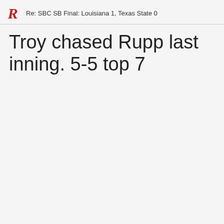Re: SBC SB Final: Louisiana 1, Texas State 0
Troy chased Rupp last inning. 5-5 top 7